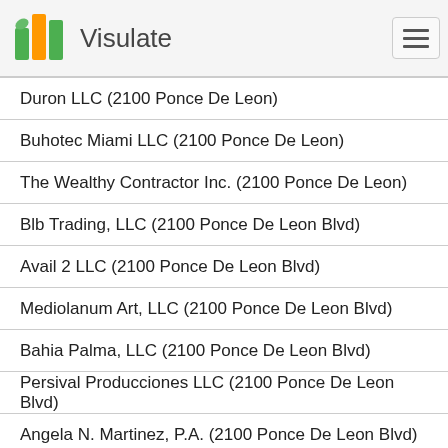Visulate
Duron LLC (2100 Ponce De Leon)
Buhotec Miami LLC (2100 Ponce De Leon)
The Wealthy Contractor Inc. (2100 Ponce De Leon)
Blb Trading, LLC (2100 Ponce De Leon Blvd)
Avail 2 LLC (2100 Ponce De Leon Blvd)
Mediolanum Art, LLC (2100 Ponce De Leon Blvd)
Bahia Palma, LLC (2100 Ponce De Leon Blvd)
Persival Producciones LLC (2100 Ponce De Leon Blvd)
Angela N. Martinez, P.A. (2100 Ponce De Leon Blvd)
Mecca Malone Management Inc (2100 Ponce De Leon Blvd)